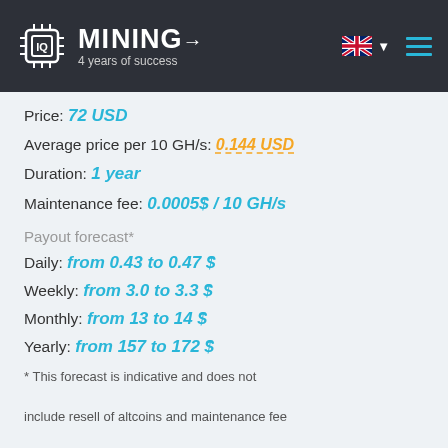IQ Mining – 4 years of success
Price: 72 USD
Average price per 10 GH/s: 0.144 USD
Duration: 1 year
Maintenance fee: 0.0005$ / 10 GH/s
Payout forecast*
Daily: from 0.43 to 0.47 $
Weekly: from 3.0 to 3.3 $
Monthly: from 13 to 14 $
Yearly: from 157 to 172 $
* This forecast is indicative and does not include resell of altcoins and maintenance fee